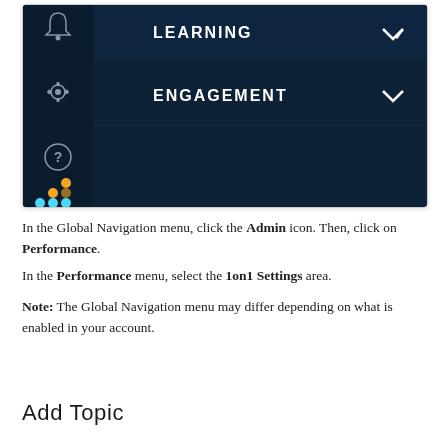[Figure (screenshot): Screenshot of a dark navy blue navigation menu showing two menu items: LEARNING (with a dropdown chevron) and ENGAGEMENT (with a dropdown chevron). On the left sidebar there are icons: a bell icon, a gear/settings icon, a help/question mark icon, and a colorful dot grid icon (orange and cyan dots arranged in a 2x3 pattern).]
In the Global Navigation menu, click the Admin icon. Then, click on Performance. In the Performance menu, select the 1on1 Settings area.
Note: The Global Navigation menu may differ depending on what is enabled in your account.
Add Topic